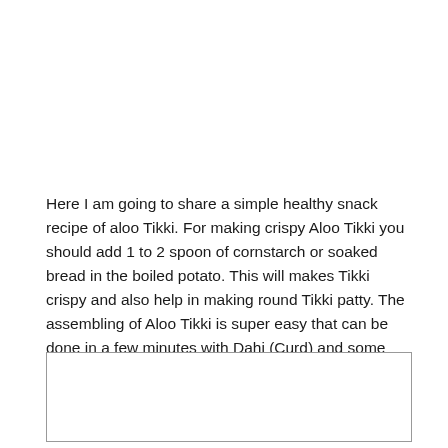Here I am going to share a simple healthy snack recipe of aloo Tikki. For making crispy Aloo Tikki you should add 1 to 2 spoon of cornstarch or soaked bread in the boiled potato. This will makes Tikki crispy and also help in making round Tikki patty. The assembling of Aloo Tikki is super easy that can be done in a few minutes with Dahi (Curd) and some spices.
I hope you guys like and try this super easy & delicious Aloo Tikki Recipe.
[Figure (other): Empty bordered rectangular box at the bottom of the page]